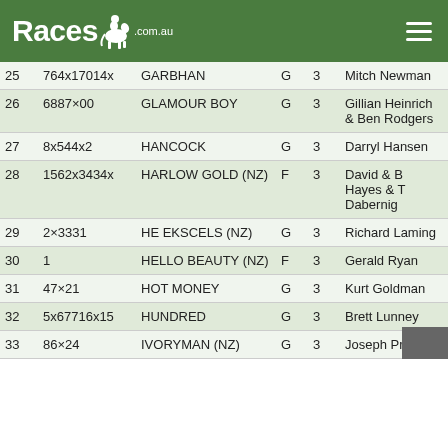Races.com.au
| # | Code | Horse | Sex | Age | Trainer |
| --- | --- | --- | --- | --- | --- |
| 25 | 764x17014x | GARBHAN | G | 3 | Mitch Newman |
| 26 | 6887×00 | GLAMOUR BOY | G | 3 | Gillian Heinrich & Ben Rodgers |
| 27 | 8x544x2 | HANCOCK | G | 3 | Darryl Hansen |
| 28 | 1562x3434x | HARLOW GOLD (NZ) | F | 3 | David & B Hayes & T Dabernig |
| 29 | 2×3331 | HE EKSCELS (NZ) | G | 3 | Richard Laming |
| 30 | 1 | HELLO BEAUTY (NZ) | F | 3 | Gerald Ryan |
| 31 | 47×21 | HOT MONEY | G | 3 | Kurt Goldman |
| 32 | 5x67716x15 | HUNDRED | G | 3 | Brett Lunney |
| 33 | 86×24 | IVORYMAN (NZ) | G | 3 | Joseph Pride |